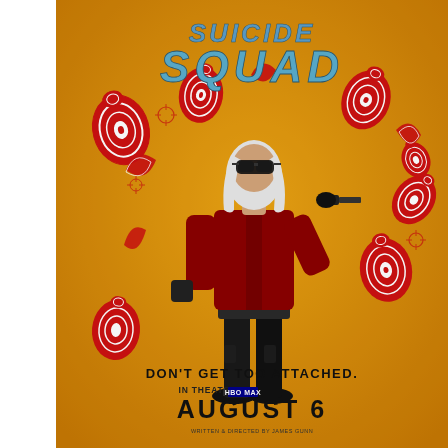[Figure (illustration): The Suicide Squad (2021) movie character poster on a distressed yellow/orange background. Features a character with long white hair, dark sunglasses, red tactical jacket and black cargo pants, pointing a gun forward. Surrounding the character are multiple red shooting range target silhouettes in various orientations flying around. At the top is the movie title 'SUICIDE SQUAD' in blue bold italic letters. Tagline reads 'DON'T GET TOO ATTACHED.' followed by 'IN THEATERS | HBO MAX' and release date 'AUGUST 6'. Directed by James Gunn credit at bottom.]